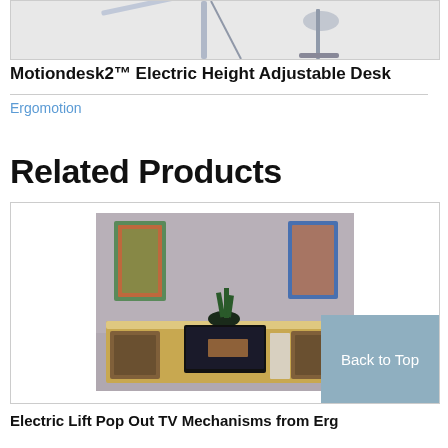[Figure (photo): Partial product image of the Motiondesk2 Electric Height Adjustable Desk (cropped top portion)]
Motiondesk2™ Electric Height Adjustable Desk
Ergomotion
Related Products
[Figure (photo): Photo of a media console/credenza with artwork on the wall behind it and a plant on top]
Electric Lift Pop Out TV Mechanisms from Ergomotion